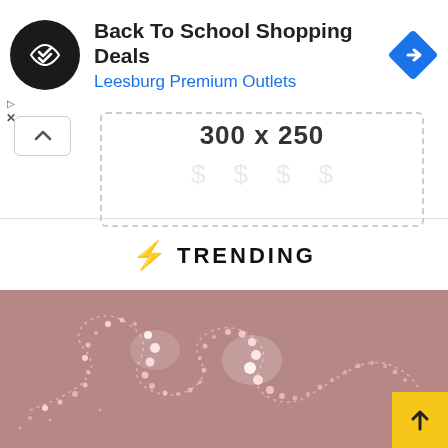[Figure (screenshot): Advertisement banner for Back To School Shopping Deals at Leesburg Premium Outlets with a circular black logo containing a double arrow icon and a blue diamond navigation icon on the right]
Back To School Shopping Deals
Leesburg Premium Outlets
[Figure (infographic): 300 x 250 placeholder ad unit box with dashed border containing dollar sign icons]
⚡ TRENDING
[Figure (photo): Microscopic or close-up photograph showing a worm-like or snake-like biological structure with dotted/glowing outlines against a brownish-pink blurry background]